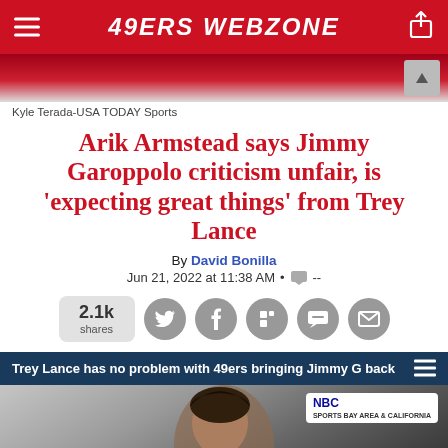49ERS WEBZONE
Kyle Terada-USA TODAY Sports
Arik Armstead says Jimmy Garoppolo criticism unfair, is 'expecting great things' from Trey Lance
By David Bonilla
Jun 21, 2022 at 11:38 AM • --
[Figure (infographic): Social share buttons row: 2.1k shares, Twitter, Facebook, Flipboard, Chat, Email icons]
[Figure (screenshot): Video embed: Trey Lance has no problem with 49ers bringing Jimmy G back — NBC Sports video thumbnail showing a man with dark hair]